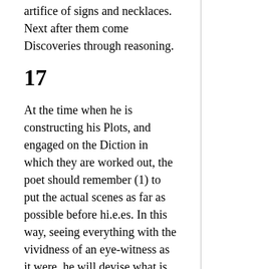artifice of signs and necklaces. Next after them come Discoveries through reasoning.
17
At the time when he is constructing his Plots, and engaged on the Diction in which they are worked out, the poet should remember (1) to put the actual scenes as far as possible before hi.e.es. In this way, seeing everything with the vividness of an eye-witness as it were, he will devise what is appropriate, and be least likely to overlook incongruities. This is shown by what was censured in Carcinus, the return of